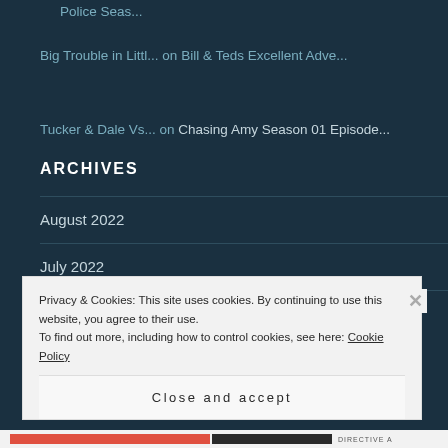Police Seas...
Big Trouble in Littl... on Bill & Teds Excellent Adve...
Tucker & Dale Vs... on Chasing Amy Season 01 Episode...
ARCHIVES
August 2022
July 2022
Privacy & Cookies: This site uses cookies. By continuing to use this website, you agree to their use.
To find out more, including how to control cookies, see here: Cookie Policy
Close and accept